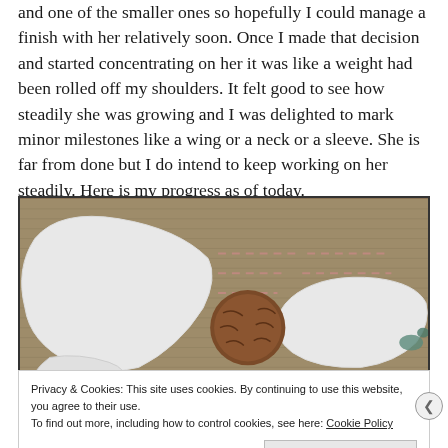and one of the smaller ones so hopefully I could manage a finish with her relatively soon. Once I made that decision and started concentrating on her it was like a weight had been rolled off my shoulders. It felt good to see how steadily she was growing and I was delighted to mark minor milestones like a wing or a neck or a sleeve. She is far from done but I do intend to keep working on her steadily. Here is my progress as of today.
[Figure (photo): Close-up photograph of an embroidery work in progress on burlap/linen fabric. Shows white stitched shapes (wings and other forms) with some brown and blue stitching, along with pink/red guide lines marked on the fabric.]
Privacy & Cookies: This site uses cookies. By continuing to use this website, you agree to their use.
To find out more, including how to control cookies, see here: Cookie Policy
Close and accept